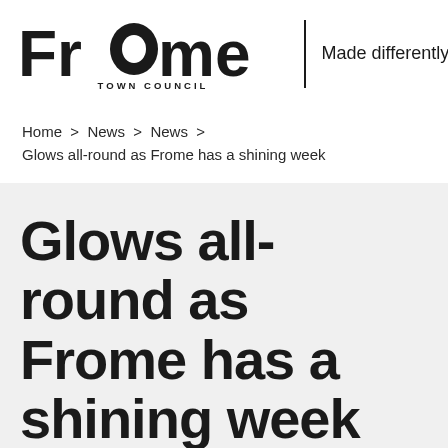[Figure (logo): Frome Town Council logo with stylized 'FrOme' text and tagline 'Made differently']
Home > News > News >
Glows all-round as Frome has a shining week
Glows all-round as Frome has a shining week